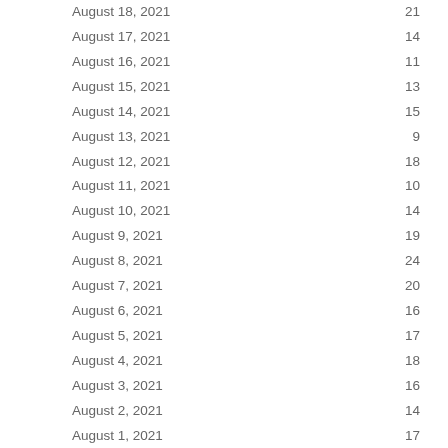| Date | Count |
| --- | --- |
| August 18, 2021 | 21 |
| August 17, 2021 | 14 |
| August 16, 2021 | 11 |
| August 15, 2021 | 13 |
| August 14, 2021 | 15 |
| August 13, 2021 | 9 |
| August 12, 2021 | 18 |
| August 11, 2021 | 10 |
| August 10, 2021 | 14 |
| August 9, 2021 | 19 |
| August 8, 2021 | 24 |
| August 7, 2021 | 20 |
| August 6, 2021 | 16 |
| August 5, 2021 | 17 |
| August 4, 2021 | 18 |
| August 3, 2021 | 16 |
| August 2, 2021 | 14 |
| August 1, 2021 | 17 |
| July 31, 2021 | 25 |
| July 30, 2021 | 30 |
| July 29, 2021 | 26 |
| July 28, 2021 | 14 |
| July 27, 2021 | 19 |